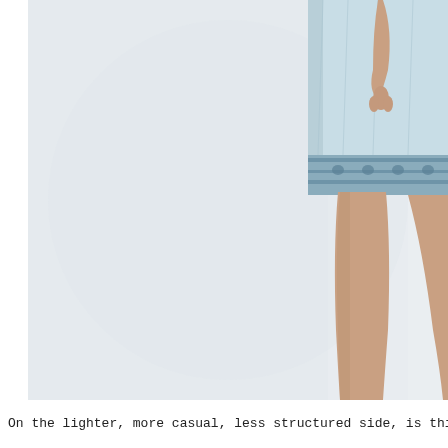[Figure (photo): A partial photo of a person wearing a light blue patterned/embroidered skirt or shorts, showing the lower body and bare legs against a white/light grey background. The image is cropped and shows only the right side of the figure.]
On the lighter, more casual, less structured side, is this pretty blue, de